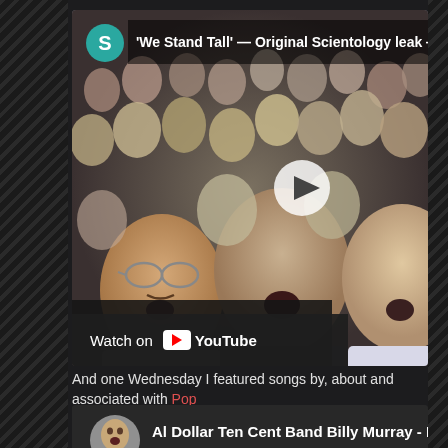[Figure (screenshot): YouTube video embed thumbnail showing a crowd of people singing, with a play button in the center. Channel icon 'S' in teal circle. Video title: "'We Stand Tall' — Original Scientology leak —". Watch on YouTube bar at bottom left.]
And one Wednesday I featured songs by, about and associated with Pop
[Figure (screenshot): YouTube video embed showing channel icon with a bald man's face, title: 'Al Dollar Ten Cent Band Billy Murray - Popeye', with cartoon Popeye illustration in background.]